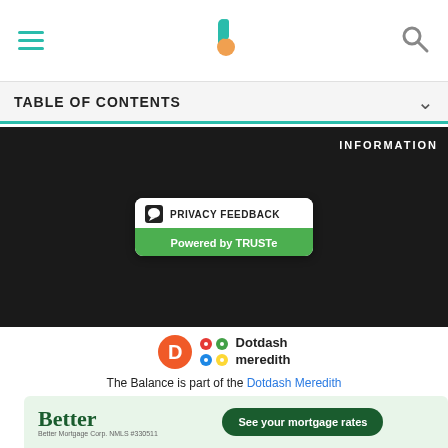TABLE OF CONTENTS
INFORMATION
[Figure (logo): Privacy Feedback badge powered by TRUSTe]
[Figure (logo): Dotdash Meredith logo]
The Balance is part of the Dotdash Meredith publishing family.
We've updated our Privacy Policy, which will go in to effect on September 1, 2022. Review our Privacy Policy
Ad
[Figure (other): Better Mortgage advertisement: Better logo with 'See your mortgage rates' button]